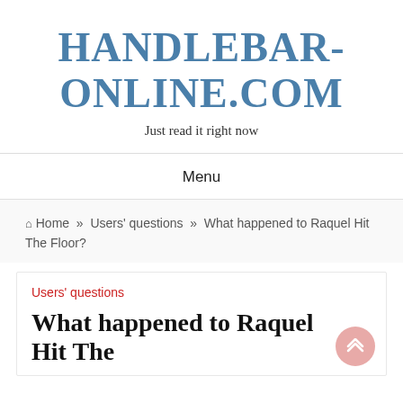HANDLEBAR-ONLINE.COM
Just read it right now
Menu
🏠 Home » Users' questions » What happened to Raquel Hit The Floor?
Users' questions
What happened to Raquel Hit The